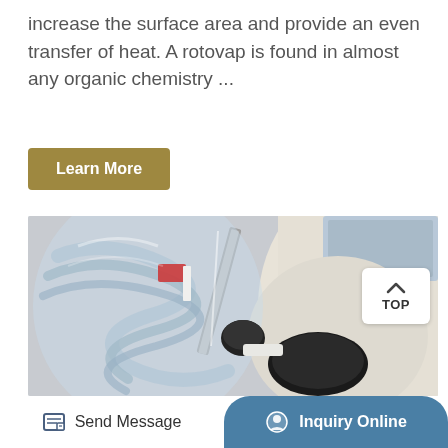increase the surface area and provide an even transfer of heat. A rotovap is found in almost any organic chemistry ...
[Figure (other): Button labeled 'Learn More' with dark gold/olive background]
[Figure (photo): Close-up photograph of a rotary evaporator (rotovap) showing a glass flask with spiral/coiled glass tubing, metal rod, black connector pieces, and cream-colored machine body with a digital display screen in the background]
Send Message   Inquiry Online